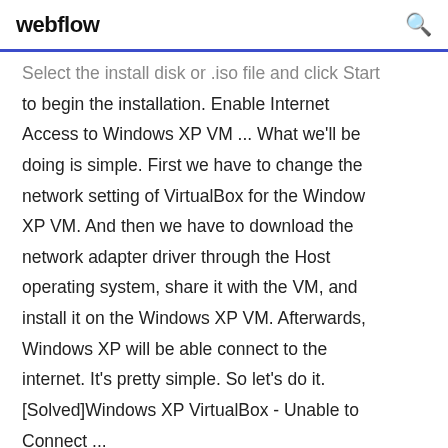webflow
Select the install disk or .iso file and click Start to begin the installation. Enable Internet Access to Windows XP VM ... What we'll be doing is simple. First we have to change the network setting of VirtualBox for the Window XP VM. And then we have to download the network adapter driver through the Host operating system, share it with the VM, and install it on the Windows XP VM. Afterwards, Windows XP will be able connect to the internet. It's pretty simple. So let's do it. [Solved]Windows XP VirtualBox - Unable to Connect ...
11/05/2020 · Cannot connect to internet on XP